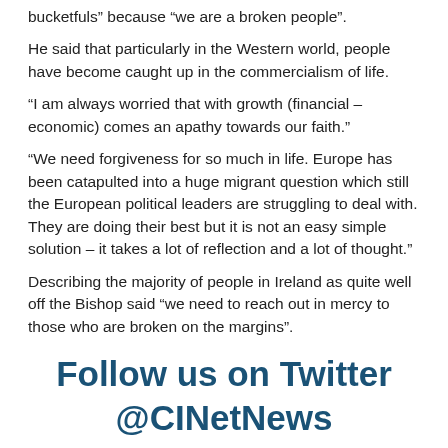bucketfuls" because "we are a broken people".
He said that particularly in the Western world, people have become caught up in the commercialism of life.
“I am always worried that with growth (financial – economic) comes an apathy towards our faith.”
“We need forgiveness for so much in life. Europe has been catapulted into a huge migrant question which still the European political leaders are struggling to deal with. They are doing their best but it is not an easy simple solution – it takes a lot of reflection and a lot of thought.”
Describing the majority of people in Ireland as quite well off the Bishop said “we need to reach out in mercy to those who are broken on the margins”.
Follow us on Twitter @CINetNews